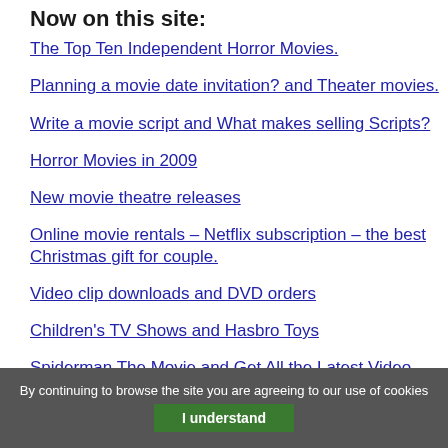Now on this site:
The Top Ten Independent Horror Movies.
Planning a movie date invitation? and Theater movies.
Write a movie script and What makes selling Scripts?
Horror Movies in 2009
New movie theatre releases
Online movie rentals – Netflix subscription – the best Christmas gift for couple.
Video clip downloads and DVD orders
Children's TV Shows and Hasbro Toys
Spiderman The Movie and Get All the Latest Video Releases.
Classic Hollywood Movies and Gift certificates online.
By continuing to browse the site you are agreeing to our use of cookies
I understand